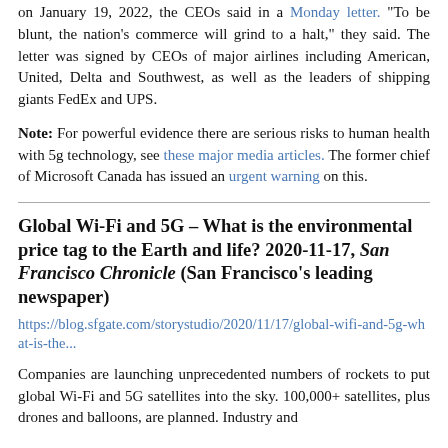on January 19, 2022, the CEOs said in a Monday letter. "To be blunt, the nation's commerce will grind to a halt," they said. The letter was signed by CEOs of major airlines including American, United, Delta and Southwest, as well as the leaders of shipping giants FedEx and UPS.
Note: For powerful evidence there are serious risks to human health with 5g technology, see these major media articles. The former chief of Microsoft Canada has issued an urgent warning on this.
Global Wi-Fi and 5G – What is the environmental price tag to the Earth and life? 2020-11-17, San Francisco Chronicle (San Francisco's leading newspaper)
https://blog.sfgate.com/storystudio/2020/11/17/global-wifi-and-5g-what-is-the...
Companies are launching unprecedented numbers of rockets to put global Wi-Fi and 5G satellites into the sky. 100,000+ satellites, plus drones and balloons, are planned. Industry and